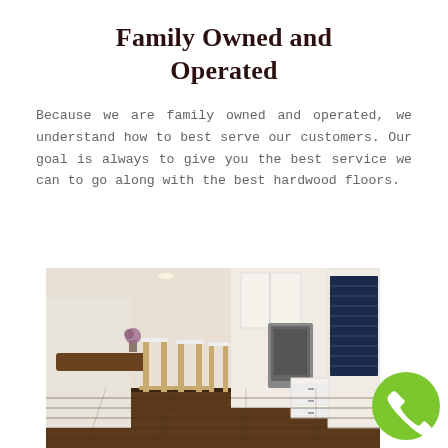Family Owned and Operated
Because we are family owned and operated, we understand how to best serve our customers. Our goal is always to give you the best service we can to go along with the best hardwood floors.
[Figure (photo): Interior kitchen scene with hardwood floors, white cabinetry, bar stools with white upholstery, wooden island, stainless steel appliances, and a built-in wine cooler.]
[Figure (other): Green circular phone call button icon with white telephone handset symbol.]